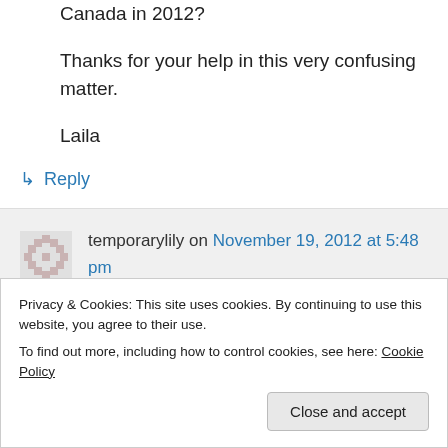Canada in 2012?
Thanks for your help in this very confusing matter.
Laila
↳ Reply
temporarylily on November 19, 2012 at 5:48 pm
Privacy & Cookies: This site uses cookies. By continuing to use this website, you agree to their use.
To find out more, including how to control cookies, see here: Cookie Policy
Close and accept